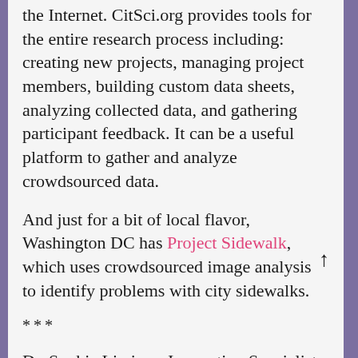the Internet. CitSci.org provides tools for the entire research process including: creating new projects, managing project members, building custom data sheets, analyzing collected data, and gathering participant feedback. It can be a useful platform to gather and analyze crowdsourced data.
And just for a bit of local flavor, Washington DC has Project Sidewalk, which uses crowdsourced image analysis to identify problems with city sidewalks.
***
Dr. Sophia Liu is an Innovation Specialist at the U.S. Geological Survey Science and Decisions Center. Sophia has done all sorts of cool work. She is the Co-Chair of the Federal Community of Practice for Crowdsourcing and Citizen Ccience (CCS) and the CCS Coordinator for the United States Geological Survey (USGS) and the Department of Interior. She